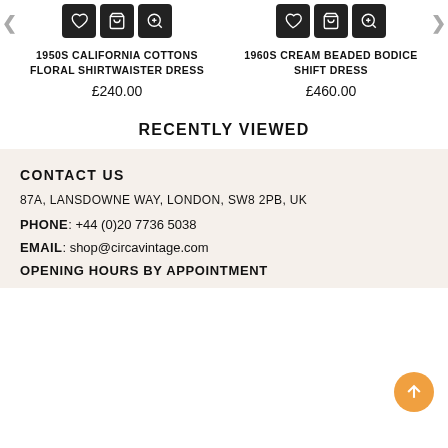1950S CALIFORNIA COTTONS FLORAL SHIRTWAISTER DRESS
£240.00
1960S CREAM BEADED BODICE SHIFT DRESS
£460.00
RECENTLY VIEWED
CONTACT US
87A, LANSDOWNE WAY, LONDON, SW8 2PB, UK
PHONE: +44 (0)20 7736 5038
EMAIL: shop@circavintage.com
OPENING HOURS BY APPOINTMENT